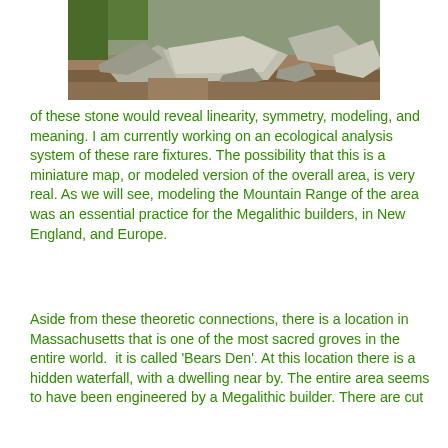[Figure (photo): Photograph of large stone rocks and boulders on bare earth with some vegetation in the background, appearing to be an archaeological or megalithic site.]
of these stone would reveal linearity, symmetry, modeling, and meaning. I am currently working on an ecological analysis system of these rare fixtures. The possibility that this is a miniature map, or modeled version of the overall area, is very real. As we will see, modeling the Mountain Range of the area was an essential practice for the Megalithic builders, in New England, and Europe.
Aside from these theoretic connections, there is a location in Massachusetts that is one of the most sacred groves in the entire world.  it is called 'Bears Den'. At this location there is a hidden waterfall, with a dwelling near by. The entire area seems to have been engineered by a Megalithic builder. There are cut